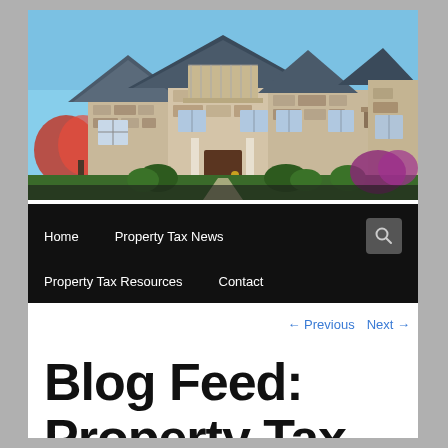[Figure (photo): Exterior photo of a large luxury stone house with multiple gables, large windows, and landscaped front yard with colorful flowers and green shrubs under a blue sky]
Home   Property Tax News   Property Tax Resources   Contact
← Previous   Next →
Blog Feed: Property Tax Transfer &